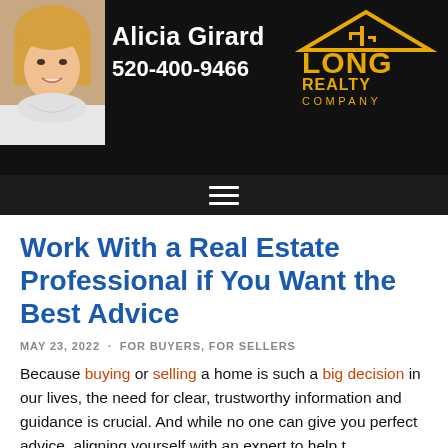Alicia Girard 520-400-9466 Long Realty Company
Work With a Real Estate Professional if You Want the Best Advice
MAY 23, 2022 · FOR BUYERS, FOR SELLERS
Because buying or selling a home is such a big decision in our lives, the need for clear, trustworthy information and guidance is crucial. And while no one can give you perfect advice, aligning yourself with an expert to help t…